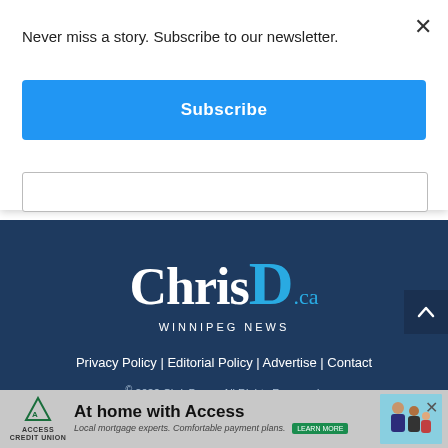Never miss a story. Subscribe to our newsletter.
Subscribe
[Figure (logo): ChrisD.ca Winnipeg News logo in white and blue on dark navy background]
Privacy Policy | Editorial Policy | Advertise | Contact
© 2022 ChrisD.ca – All Rights Reserved.
FOLLOW CHRISD.CA
At home with Access
Local mortgage experts. Comfortable payment plans.